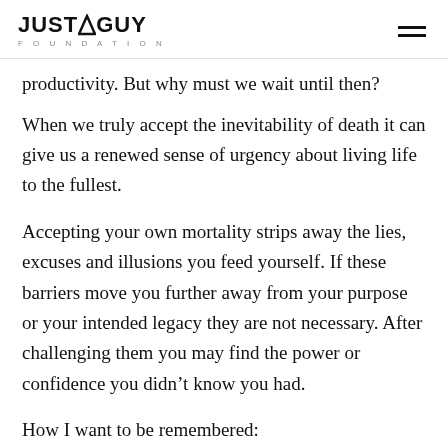JUST A GUY FOUNDATION
productivity. But why must we wait until then?
When we truly accept the inevitability of death it can give us a renewed sense of urgency about living life to the fullest.
Accepting your own mortality strips away the lies, excuses and illusions you feed yourself. If these barriers move you further away from your purpose or your intended legacy they are not necessary. After challenging them you may find the power or confidence you didn’t know you had.
How I want to be remembered: